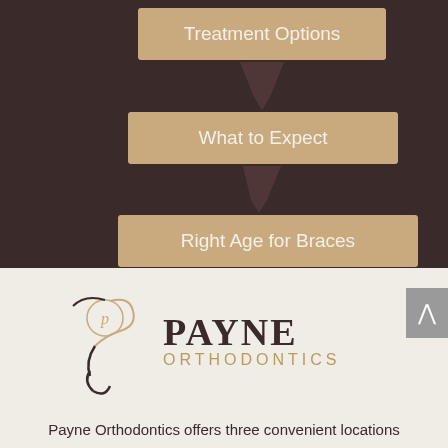[Figure (flowchart): Flowchart with three tan/beige rounded rectangular boxes connected by downward arrows on a dark brown background. Boxes read: 'Treatment Options', 'What to Expect', 'Right Age for Braces' from top to bottom.]
[Figure (logo): Payne Orthodontics logo with stylized P icon in dark brown and gold, with 'PAYNE' in large serif dark brown letters and 'ORTHODONTICS' in smaller gold spaced letters beneath.]
Payne Orthodontics offers three convenient locations